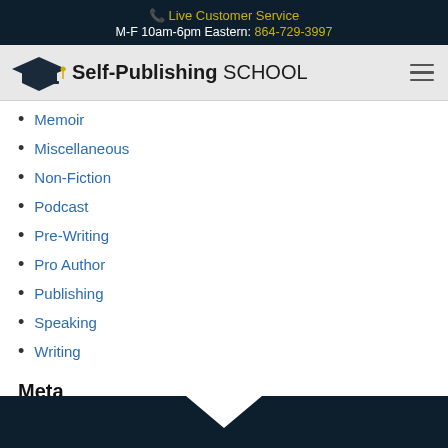Live Customer Service
M-F 10am-6pm Eastern: 864-729-3997
[Figure (logo): Self-Publishing School logo with graduation cap icon and text 'Self-Publishing SCHOOL']
Memoir
Miscellaneous
Non-Fiction
Podcast
Pre-Writing
Pro Author
Publishing
Speaking
Writing
Meta
Log in
Entries feed
Comments feed
WordPress.org